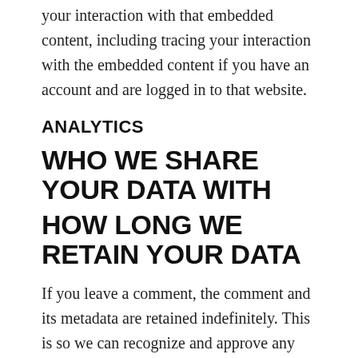your interaction with that embedded content, including tracing your interaction with the embedded content if you have an account and are logged in to that website.
ANALYTICS
WHO WE SHARE YOUR DATA WITH
HOW LONG WE RETAIN YOUR DATA
If you leave a comment, the comment and its metadata are retained indefinitely. This is so we can recognize and approve any follow-up comments automatically instead of holding them in a moderation queue.
For users that register on our website (if any), we also store the personal information they provide in their user profile. All users can see, edit, or delete their